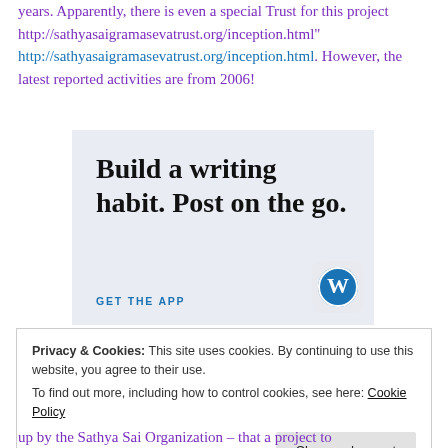years. Apparently, there is even a special Trust for this project http://sathyasaigramasevatrust.org/inception.html" http://sathyasaigramasevatrust.org/inception.html. However, the latest reported activities are from 2006!
[Figure (other): WordPress app advertisement banner with light blue background. Text reads 'Build a writing habit. Post on the go.' with 'GET THE APP' call to action and WordPress logo.]
Privacy & Cookies: This site uses cookies. By continuing to use this website, you agree to their use.
To find out more, including how to control cookies, see here: Cookie Policy
up by the Sathya Sai Organization – that a project to